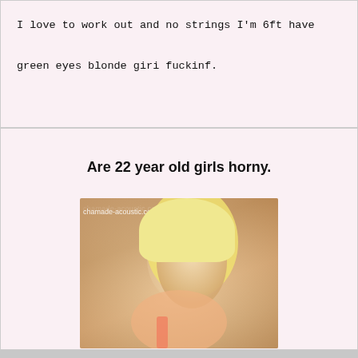I love to work out and no strings I'm 6ft have green eyes blonde giri fuckinf.
Are 22 year old girls horny.
[Figure (photo): A blonde woman photographed in what appears to be a bathroom selfie, with watermark text 'chamade-acoustic.co']